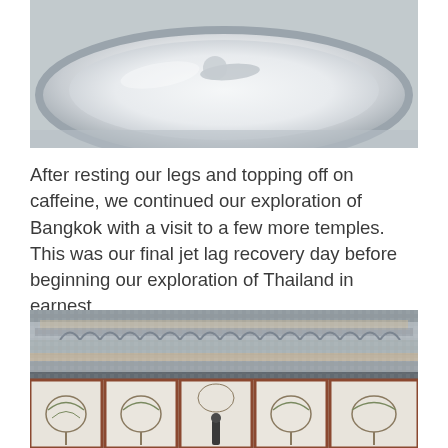[Figure (photo): Close-up photo of a white ceramic plate or bowl, partially cropped, on a light surface. The image shows the rim and interior of the dish from above.]
After resting our legs and topping off on caffeine, we continued our exploration of Bangkok with a visit to a few more temples. This was our final jet lag recovery day before beginning our exploration of Thailand in earnest.
[Figure (photo): Photo of an ornate Thai temple structure (Wat Arun style), decorated with intricate mosaic tile work featuring floral patterns on white and terracotta-bordered panels. A person stands at the base of the temple for scale. The upper portion shows layered architectural details with embedded porcelain and stonework.]